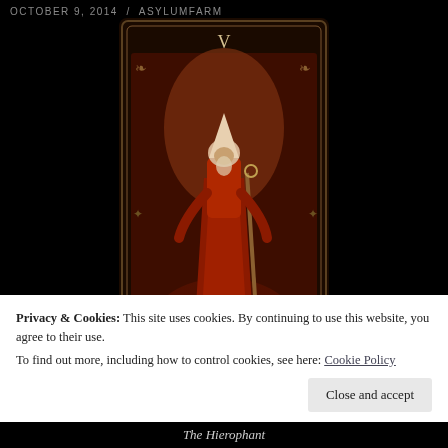OCTOBER 9, 2014 / ASYLUMFARM
[Figure (illustration): Dark tarot card illustration of The Hierophant — a robed bishop figure seated on a throne beneath a gothic arch, surrounded by flames and grasping hands, with ornate border decorations and the Roman numeral V at the top.]
Privacy & Cookies: This site uses cookies. By continuing to use this website, you agree to their use.
To find out more, including how to control cookies, see here: Cookie Policy
Close and accept
The Hierophant